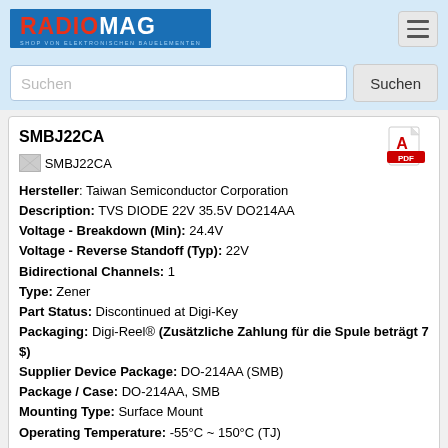RADIOMAG - SHOP VON ELEKTRONISCHEN BAUELEMENTEN
Suchen
SMBJ22CA
Hersteller: Taiwan Semiconductor Corporation
Description: TVS DIODE 22V 35.5V DO214AA
Voltage - Breakdown (Min): 24.4V
Voltage - Reverse Standoff (Typ): 22V
Bidirectional Channels: 1
Type: Zener
Part Status: Discontinued at Digi-Key
Packaging: Digi-Reel® (Zusätzliche Zahlung für die Spule beträgt 7 $)
Supplier Device Package: DO-214AA (SMB)
Package / Case: DO-214AA, SMB
Mounting Type: Surface Mount
Operating Temperature: -55°C ~ 150°C (TJ)
Applications: General Purpose
Power Line Protection: No
Power - Peak Pulse: 600W
Current - Peak Pulse (10/1000µs): 16.9A
Voltage - Clamping (Max) @ Ipp: 35.5V
Produkt ist nicht verfügbar, Sie können Anfrage senden wenn Sie Produkt in den Warenkorb